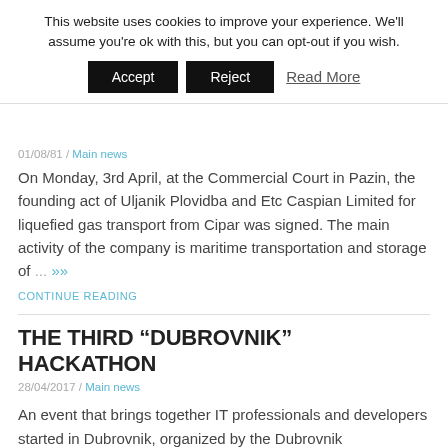This website uses cookies to improve your experience. We'll assume you're ok with this, but you can opt-out if you wish.
Accept | Reject | Read More
On Monday, 3rd April, at the Commercial Court in Pazin, the founding act of Uljanik Plovidba and Etc Caspian Limited for liquefied gas transport from Cipar was signed. The main activity of the company is maritime transportation and storage of ... »»
CONTINUE READING
THE THIRD “DUBROVNIK” HACKATHON
28/04/2017 / Main news
An event that brings together IT professionals and developers started in Dubrovnik, organized by the Dubrovnik Development Agency Dura, RIT Croatia and University of Dubrovnik. All participants of Hackathon are from the Dubrovnik-Neretva County. They will develop IT solutions and ... »»
CONTINUE READING